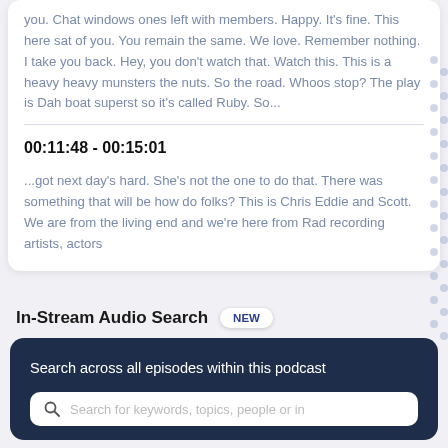you. Chat windows ones left with members. Happy. It's fine. This here sat of you. You remain the same. We love. Remember nothing. I take you back. Hey, you don't watch that. Watch this. This is a heavy heavy munsters the nuts. So the road. Whoos stop? The play is Dah boat superst so it's called Ruby. So...
00:11:48 - 00:15:01
...got next day's hard. She's not the one to do that. There was something that will be how do folks? This is Chris Eddie and Scott. We are from the living end and we're here from Rad recording artists, actors
In-Stream Audio Search NEW
Search across all episodes within this podcast
Search for keywords, topics, people or in